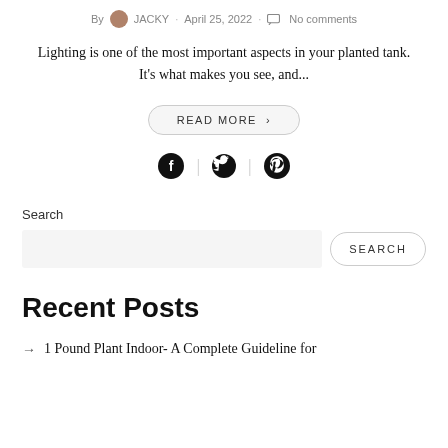By JACKY · April 25, 2022 · No comments
Lighting is one of the most important aspects in your planted tank. It's what makes you see, and...
READ MORE >
[Figure (infographic): Social share icons: Facebook, Twitter, Pinterest]
Search
SEARCH
Recent Posts
1 Pound Plant Indoor- A Complete Guideline for